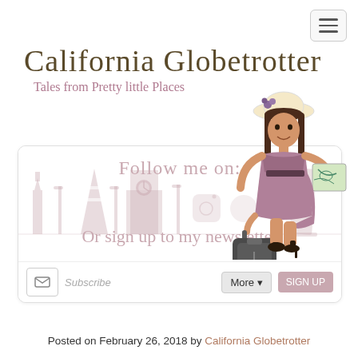[Figure (logo): Hamburger menu button in top right corner]
California Globetrotter
Tales from Pretty little Places
[Figure (illustration): Woman in purple dress with hat and luggage holding a map, walking illustration used as blog mascot]
[Figure (illustration): Follow me on social media card with city skyline silhouette background, text: Follow me on: and Or sign up to my newsletter, with Subscribe input field, More dropdown, and Sign Up button]
Posted on February 26, 2018 by California Globetrotter